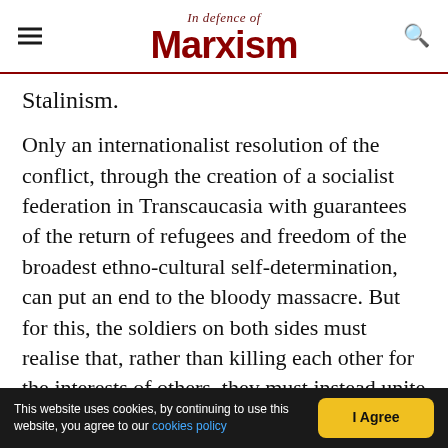In Defence of Marxism
Stalinism.
Only an internationalist resolution of the conflict, through the creation of a socialist federation in Transcaucasia with guarantees of the return of refugees and freedom of the broadest ethno-cultural self-determination, can put an end to the bloody massacre. But for this, the soldiers on both sides must realise that, rather than killing each other for the interests of others, they must instead unite with their working brothers and sisters on the other side and turn their weapons against their true enemies: their own capitalists and foreign imperialists.
This website uses cookies, by continuing to use this website, you agree to our cookies policy  I Agree